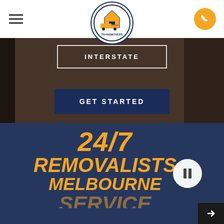[Figure (logo): TransMovers logo: truck and house icon inside a circle with blue border, orange truck graphic]
[Figure (screenshot): Navigation bar with hamburger menu on left, logo in center, orange phone button on right]
INTERSTATE
GET STARTED
24/7 REMOVALISTS MELBOURNE SERVICE